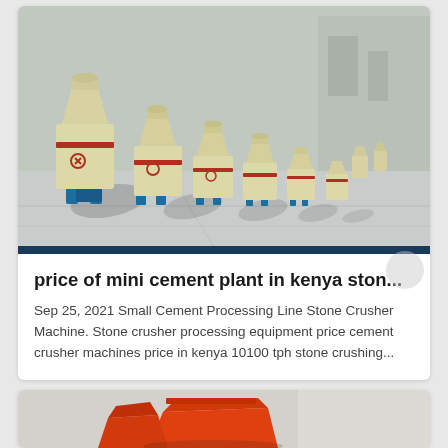[Figure (photo): Row of yellow cone crusher machines lined up in an outdoor factory yard with blue bases and red warning symbols, casting oval shadows on grey concrete floor.]
price of mini cement plant in kenya ston...
Sep 25, 2021 Small Cement Processing Line Stone Crusher Machine. Stone crusher processing equipment price cement crusher machines price in kenya 10100 tph stone crushing...
[Figure (photo): Partial view of orange stone crusher machine equipment against light background.]